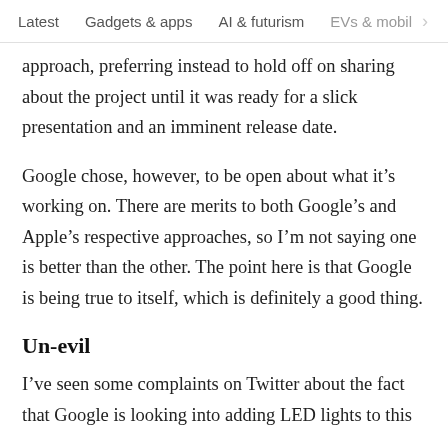Latest   Gadgets & apps   AI & futurism   EVs & mobil  >
approach, preferring instead to hold off on sharing about the project until it was ready for a slick presentation and an imminent release date.
Google chose, however, to be open about what it's working on. There are merits to both Google's and Apple's respective approaches, so I'm not saying one is better than the other. The point here is that Google is being true to itself, which is definitely a good thing.
Un-evil
I've seen some complaints on Twitter about the fact that Google is looking into adding LED lights to this